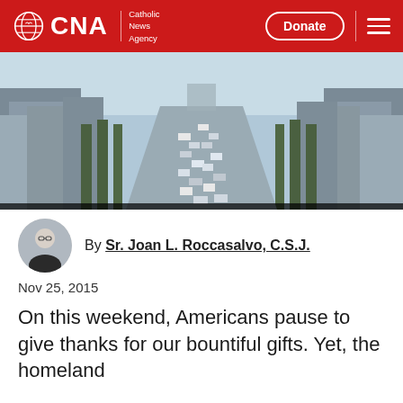CNA Catholic News Agency — Donate
[Figure (photo): Aerial view of a wide Parisian boulevard (Champs-Élysées) with heavy traffic and buildings on both sides, trees lining the road, leading into the distance.]
By Sr. Joan L. Roccasalvo, C.S.J.
Nov 25, 2015
On this weekend, Americans pause to give thanks for our bountiful gifts. Yet, the homeland